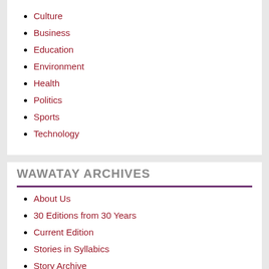Culture
Business
Education
Environment
Health
Politics
Sports
Technology
WAWATAY ARCHIVES
About Us
30 Editions from 30 Years
Current Edition
Stories in Syllabics
Story Archive